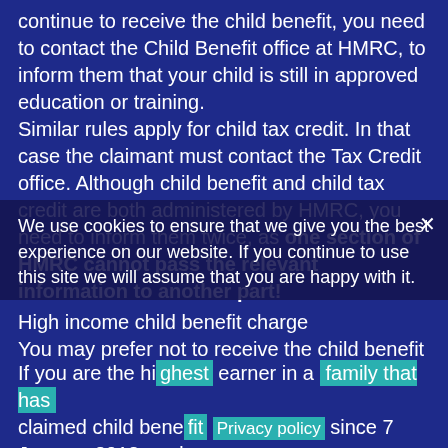continue to receive the child benefit, you need to contact the Child Benefit office at HMRC, to inform them that your child is still in approved education or training. Similar rules apply for child tax credit. In that case the claimant must contact the Tax Credit office. Although child benefit and child tax credit are both administered by HMRC, you need to inform them twice, as one section of HMRC cannot pass the relevant information to another part!
High income child benefit charge
You may prefer not to receive the child benefit if you or your partner/spouse earns £50,000 or more. In that case all or part of the child benefit paid to your family is clawed-back through the operation of the high income child benefit charge (HICBC). HMRC has written to some of the parents who may be due to pay the HICBC, but not all, as they cannot correctly identify every person who may be liable to pay the charge. More details here: high income child benefit tax charge.
If you are the highest earner in a family that has claimed child benefit since 7 January 2013, and
We use cookies to ensure that we give you the best experience on our website. If you continue to use this site we will assume that you are happy with it.
Privacy policy